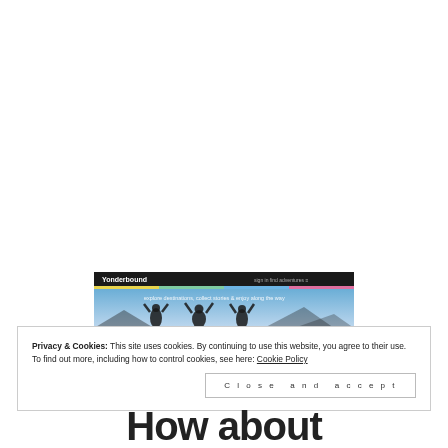[Figure (screenshot): Screenshot of Yonderbound website showing silhouettes of people with arms raised against a blue sky background, with site navigation bar at top showing 'Yonderbound' logo.]
Privacy & Cookies: This site uses cookies. By continuing to use this website, you agree to their use.
To find out more, including how to control cookies, see here: Cookie Policy
Close and accept
How about